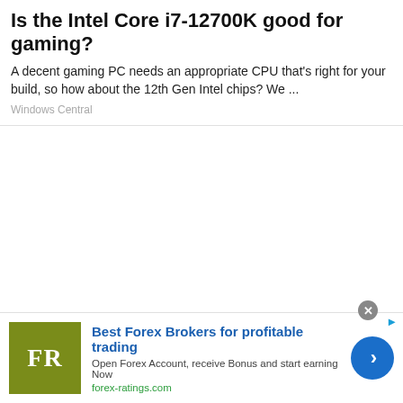Is the Intel Core i7-12700K good for gaming?
A decent gaming PC needs an appropriate CPU that's right for your build, so how about the 12th Gen Intel chips? We ...
Windows Central
[Figure (other): Large blank white space area below the article snippet]
[Figure (other): Advertisement banner: Best Forex Brokers for profitable trading. FR logo in olive/green square. CTA button with right arrow. forex-ratings.com]